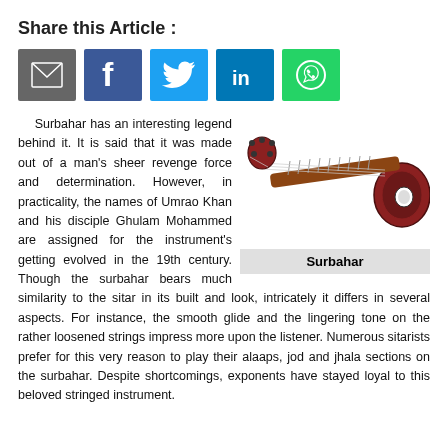Share this Article :
[Figure (infographic): Social share buttons: email (grey), Facebook (blue), Twitter (light blue), LinkedIn (dark blue), WhatsApp (green)]
Surbahar has an interesting legend behind it. It is said that it was made out of a man's sheer revenge force and determination. However, in practicality, the names of Umrao Khan and his disciple Ghulam Mohammed are assigned for the instrument's getting evolved in the 19th century. Though the surbahar bears much similarity to the sitar in its built and look, intricately it differs in several aspects. For instance, the smooth glide and the lingering tone on the rather loosened strings impress more upon the listener. Numerous sitarists prefer for this very reason to play their alaaps, jod and jhala sections on the surbahar. Despite shortcomings, exponents have stayed loyal to this beloved stringed instrument.
[Figure (photo): A Surbahar (bass sitar) instrument shown diagonally, with a long fretted neck and round resonating body with decorative inlays.]
Surbahar